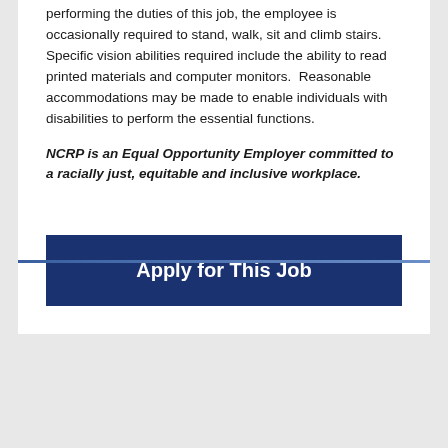performing the duties of this job, the employee is occasionally required to stand, walk, sit and climb stairs. Specific vision abilities required include the ability to read printed materials and computer monitors.  Reasonable accommodations may be made to enable individuals with disabilities to perform the essential functions.
NCRP is an Equal Opportunity Employer committed to a racially just, equitable and inclusive workplace.
Apply for This Job